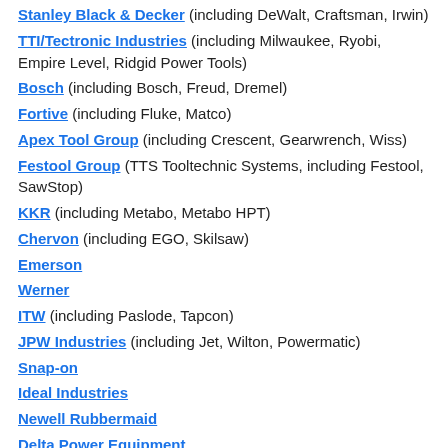Stanley Black & Decker (including DeWalt, Craftsman, Irwin)
TTI/Tectronic Industries (including Milwaukee, Ryobi, Empire Level, Ridgid Power Tools)
Bosch (including Bosch, Freud, Dremel)
Fortive (including Fluke, Matco)
Apex Tool Group (including Crescent, Gearwrench, Wiss)
Festool Group (TTS Tooltechnic Systems, including Festool, SawStop)
KKR (including Metabo, Metabo HPT)
Chervon (including EGO, Skilsaw)
Emerson
Werner
ITW (including Paslode, Tapcon)
JPW Industries (including Jet, Wilton, Powermatic)
Snap-on
Ideal Industries
Newell Rubbermaid
Delta Power Equipment